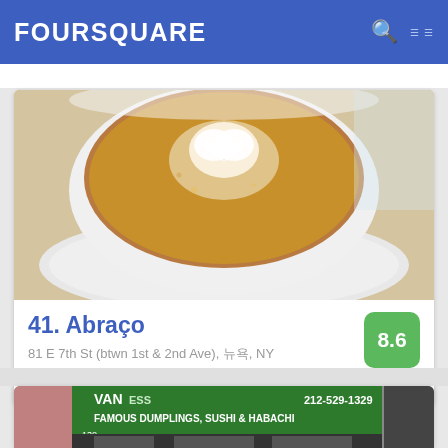FOURSQUARE
[Figure (photo): Close-up photo of a cappuccino or latte with latte art on top, in a white ceramic cup on a white saucer]
41. Abraço
81 E 7th St (btwn 1st & 2nd Ave), 뉴욕, NY
커피숍 · East Village · 278명의 팁 및 리뷰
[Figure (photo): Storefront of Vanessa's restaurant showing green awning with text: VANESSA'S FAMOUS DUMPLINGS, SUSHI & HABACHI, phone 212-529-1329]